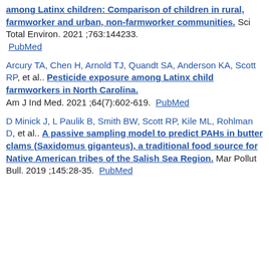among Latinx children: Comparison of children in rural, farmworker and urban, non-farmworker communities. Sci Total Environ. 2021 ;763:144233. PubMed
Arcury TA, Chen H, Arnold TJ, Quandt SA, Anderson KA, Scott RP, et al.. Pesticide exposure among Latinx child farmworkers in North Carolina. Am J Ind Med. 2021 ;64(7):602-619. PubMed
D Minick J, L Paulik B, Smith BW, Scott RP, Kile ML, Rohlman D, et al.. A passive sampling model to predict PAHs in butter clams (Saxidomus giganteus), a traditional food source for Native American tribes of the Salish Sea Region. Mar Pollut Bull. 2019 ;145:28-35. PubMed